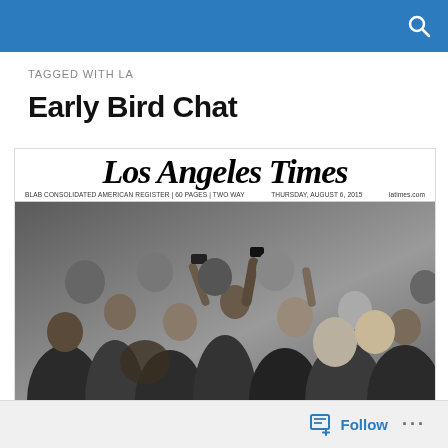TAGGED WITH LA
Early Bird Chat
[Figure (screenshot): Los Angeles Times newspaper front page showing masthead and a photograph of a crowd with people reaching out and taking selfies, likely at a political or public event.]
Follow ...